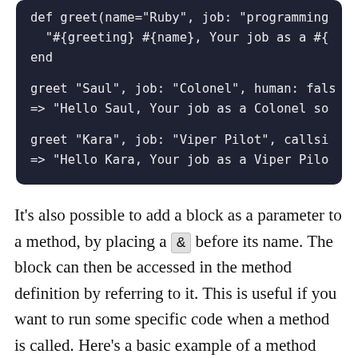[Figure (screenshot): Dark-themed code editor screenshot showing Ruby code with def greet method definition and two example calls (greet 'Saul' and greet 'Kara') with their outputs.]
It's also possible to add a block as a parameter to a method, by placing a & before its name. The block can then be accessed in the method definition by referring to it. This is useful if you want to run some specific code when a method is called. Here's a basic example of a method called